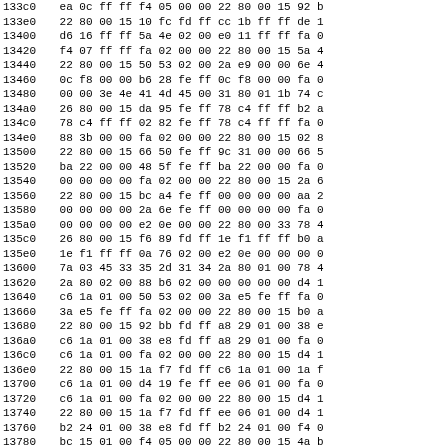| addr | b0 | b1 | b2 | b3 | b4 | b5 | b6 | b7 | b8 | b9 | b10 | b11 | b12 | ... |
| --- | --- | --- | --- | --- | --- | --- | --- | --- | --- | --- | --- | --- | --- | --- |
| 133c0 | ea | 0c | ff | ff | f4 | 05 | 00 | 00 | 22 | 80 | 00 | 15 | 92 | b |
| 133e0 | 22 | 80 | 00 | 15 | 10 | fc | fd | ff | cc | 1b | ff | ff | de | 1 |
| 13400 | d6 | 16 | ff | ff | 5a | 4e | 02 | 00 | e0 | 11 | ff | ff | fa | 0 |
| 13420 | f4 | 07 | ff | ff | fa | 02 | 00 | 00 | 22 | 80 | 00 | 15 | 5a | 4 |
| 13440 | 22 | 80 | 00 | 15 | 50 | 53 | 02 | 00 | 2a | e9 | 00 | 00 | 6e | 4 |
| 13460 | 0c | f8 | 00 | 00 | b6 | 28 | fe | ff | 0c | f8 | 00 | 00 | fa | 0 |
| 13480 | 00 | 00 | 3e | 4e | 41 | 4d | 45 | 00 | 31 | 80 | 01 | 1b | 74 | c |
| 134a0 | 26 | 80 | 00 | 15 | da | 95 | fe | ff | 78 | c4 | ff | ff | b2 | a |
| 134c0 | 78 | c4 | ff | ff | 02 | 82 | fe | ff | 78 | c4 | ff | ff | fa | 0 |
| 134e0 | 88 | 3b | 00 | 00 | fa | 02 | 00 | 00 | 22 | 80 | 00 | 15 | 02 | 8 |
| 13500 | 22 | 80 | 00 | 15 | 66 | 50 | fe | ff | 9c | 31 | 00 | 00 | 66 | 5 |
| 13520 | ba | 22 | 00 | 00 | 48 | 5f | fe | ff | ba | 22 | 00 | 00 | fa | 0 |
| 13540 | 00 | 00 | 00 | 00 | fa | 02 | 00 | 00 | 22 | 80 | 00 | 15 | 2a | 6 |
| 13560 | 22 | 80 | 00 | 15 | bc | a4 | fe | ff | 00 | 00 | 00 | 00 | aa | 2 |
| 13580 | 00 | 00 | 00 | 00 | 2a | 6e | fe | ff | 00 | 00 | 00 | 00 | fa | 0 |
| 135a0 | 00 | 00 | 00 | 00 | e2 | 0e | 00 | 00 | 22 | 80 | 00 | 33 | 78 | 4 |
| 135c0 | 26 | 80 | 00 | 15 | f6 | 89 | fd | ff | 1e | f1 | ff | ff | b0 | a |
| 135e0 | 1e | f1 | ff | ff | 0a | 76 | 02 | 00 | e2 | 0e | 00 | 00 | 00 | 0 |
| 13600 | 7a | 03 | 45 | 33 | 35 | 2d | 31 | 34 | 2a | 80 | 01 | 00 | 78 | 4 |
| 13620 | 2a | 80 | 02 | 00 | 88 | b6 | 02 | 00 | 00 | 00 | 00 | 00 | d4 | 1 |
| 13640 | c6 | 1a | 01 | 00 | 50 | 53 | 02 | 00 | 3a | e5 | fe | ff | fa | 0 |
| 13660 | 3a | e5 | fe | ff | fa | 02 | 00 | 00 | 22 | 80 | 00 | 15 | b0 | a |
| 13680 | 22 | 80 | 00 | 15 | 92 | bb | fd | ff | a8 | 29 | 01 | 00 | 38 | e |
| 136a0 | c6 | 1a | 01 | 00 | 38 | e8 | fd | ff | a8 | 29 | 01 | 00 | fa | 0 |
| 136c0 | c6 | 1a | 01 | 00 | fa | 02 | 00 | 00 | 22 | 80 | 00 | 15 | d4 | 1 |
| 136e0 | 22 | 80 | 00 | 15 | 1a | f7 | fd | ff | c6 | 1a | 01 | 00 | 1a | f |
| 13700 | c6 | 1a | 01 | 00 | d4 | 19 | fe | ff | ee | 06 | 01 | 00 | fa | 0 |
| 13720 | c6 | 1a | 01 | 00 | fa | 02 | 00 | 00 | 22 | 80 | 00 | 15 | d4 | 1 |
| 13740 | 22 | 80 | 00 | 15 | 1a | f7 | fd | ff | ee | 06 | 01 | 00 | d4 | 1 |
| 13760 | b2 | 24 | 01 | 00 | 38 | e8 | fd | ff | b2 | 24 | 01 | 00 | f4 | 0 |
| 13780 | bc | 15 | 01 | 00 | f4 | 05 | 00 | 00 | 22 | 80 | 00 | 15 | 4a | b |